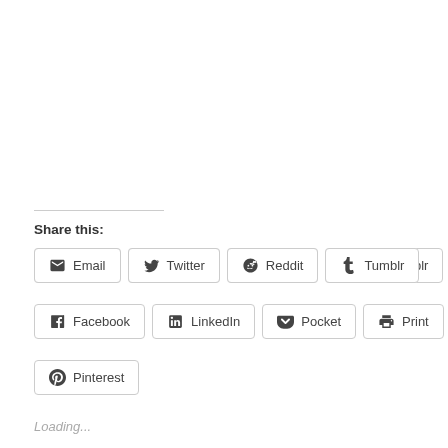Share this:
Email
Twitter
Reddit
Tumblr
Facebook
LinkedIn
Pocket
Print
Pinterest
Loading...